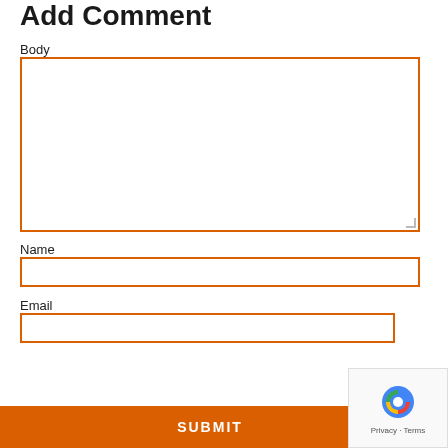Add Comment
Body
[Figure (other): Empty textarea input field with orange border for comment body]
Name
[Figure (other): Empty text input field with orange border for name]
Email
[Figure (other): Empty text input field with orange border for email]
[Figure (other): Orange SUBMIT button]
[Figure (other): reCAPTCHA widget with Privacy - Terms text]